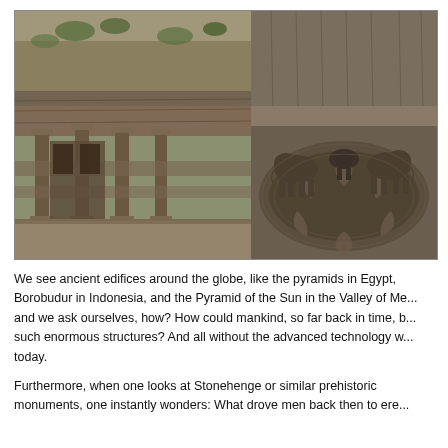[Figure (photo): Two side-by-side photographs of ancient rock-cut temple architecture. Left image shows the Kailash Temple at Ellora Caves, India — a large temple carved out of rock with ornate columns, multi-story structures, and a rocky hillside backdrop. Right image shows close-up of stone elephant sculptures on a circular platform at the same or similar temple complex.]
We see ancient edifices around the globe, like the pyramids in Egypt, Borobudur in Indonesia, and the Pyramid of the Sun in the Valley of Me... and we ask ourselves, how? How could mankind, so far back in time, b... such enormous structures? And all without the advanced technology w... today.
Furthermore, when one looks at Stonehenge or similar prehistoric monuments, one instantly wonders: What drove men back then to ere...